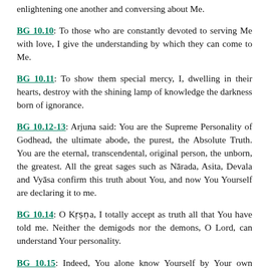enlightening one another and conversing about Me.
BG 10.10: To those who are constantly devoted to serving Me with love, I give the understanding by which they can come to Me.
BG 10.11: To show them special mercy, I, dwelling in their hearts, destroy with the shining lamp of knowledge the darkness born of ignorance.
BG 10.12-13: Arjuna said: You are the Supreme Personality of Godhead, the ultimate abode, the purest, the Absolute Truth. You are the eternal, transcendental, original person, the unborn, the greatest. All the great sages such as Nārada, Asita, Devala and Vyāsa confirm this truth about You, and now You Yourself are declaring it to me.
BG 10.14: O Kṛṣṇa, I totally accept as truth all that You have told me. Neither the demigods nor the demons, O Lord, can understand Your personality.
BG 10.15: Indeed, You alone know Yourself by Your own internal potency, O Supreme Person, origin of all, Lord of...